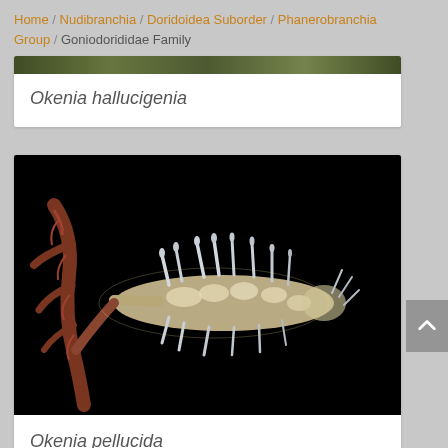Home / Nudibranchia / Doridoidea Suborder / Phanerobranchia Group / Goniodorididae Family
Okenia hallucigenia
[Figure (photo): Close-up macro photograph of a nudibranch (Okenia pellucida) on a dark background, showing a translucent white/cream colored sea slug with multiple spiky protrusions, crawling on what appears to be a reddish-brown organism]
Okenia pellucida